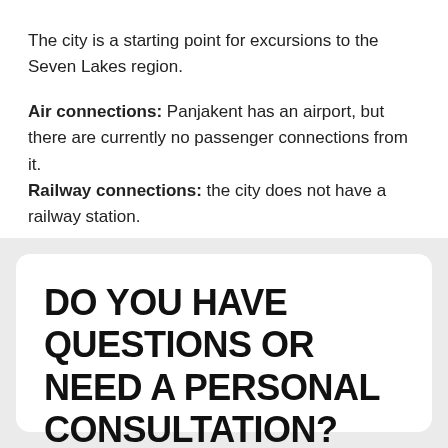The city is a starting point for excursions to the Seven Lakes region.
Air connections: Panjakent has an airport, but there are currently no passenger connections from it. Railway connections: the city does not have a railway station.
DO YOU HAVE QUESTIONS OR NEED A PERSONAL CONSULTATION?